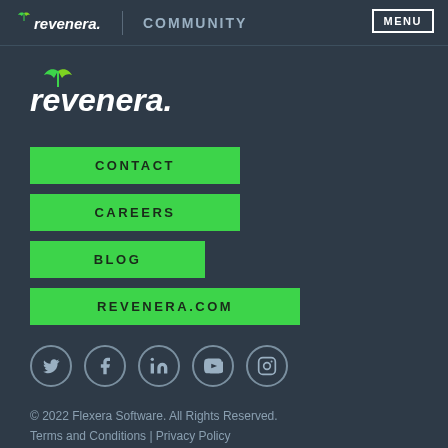revenera. | COMMUNITY | MENU
[Figure (logo): Revenera logo with green leaf icon and italic white text]
CONTACT
CAREERS
BLOG
REVENERA.COM
[Figure (infographic): Social media icons: Twitter, Facebook, LinkedIn, YouTube, Instagram — white icons in circular outlines]
© 2022 Flexera Software. All Rights Reserved.
Terms and Conditions | Privacy Policy